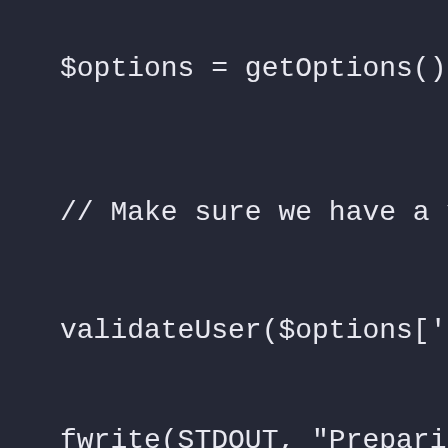$options = getOptions();
// Make sure we have a valid user (o
validateUser($options['username'],$o
fwrite(STDOUT, "Preparing Long Weigh